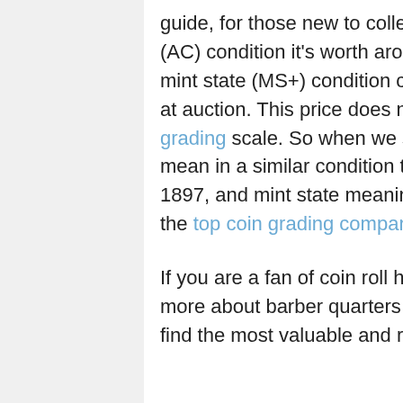guide, for those new to collecting. In Average Circulated (AC) condition it's worth around $22.00, one in certified mint state (MS+) condition could bring as much as $1,678 at auction. This price does not reference any standard coin grading scale. So when we say Average Circulated, we mean in a similar condition to other coins circulated in 1897, and mint state meaning it is certified MS+ by one of the top coin grading companies. *** [?].
If you are a fan of coin roll hunting or just want to learn more about barber quarters then search or scroll below to find the most valuable and rarest in this series.